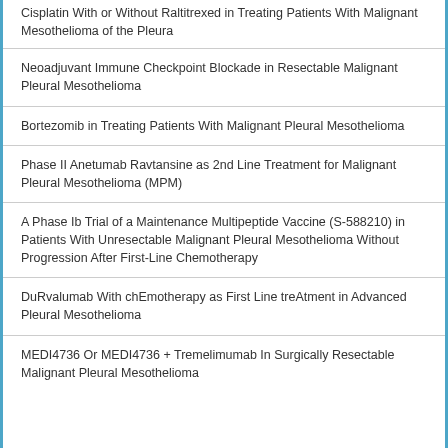Cisplatin With or Without Raltitrexed in Treating Patients With Malignant Mesothelioma of the Pleura
Neoadjuvant Immune Checkpoint Blockade in Resectable Malignant Pleural Mesothelioma
Bortezomib in Treating Patients With Malignant Pleural Mesothelioma
Phase II Anetumab Ravtansine as 2nd Line Treatment for Malignant Pleural Mesothelioma (MPM)
A Phase Ib Trial of a Maintenance Multipeptide Vaccine (S-588210) in Patients With Unresectable Malignant Pleural Mesothelioma Without Progression After First-Line Chemotherapy
DuRvalumab With chEmotherapy as First Line treAtment in Advanced Pleural Mesothelioma
MEDI4736 Or MEDI4736 + Tremelimumab In Surgically Resectable Malignant Pleural Mesothelioma